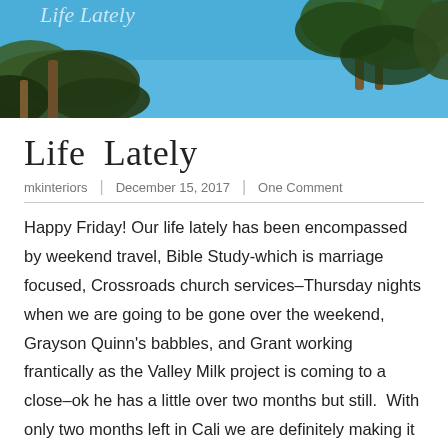[Figure (photo): Header photo showing palm trees against a bright blue sky]
Life Lately
mkinteriors | December 15, 2017 | One Comment
Happy Friday! Our life lately has been encompassed by weekend travel, Bible Study-which is marriage focused, Crossroads church services–Thursday nights when we are going to be gone over the weekend, Grayson Quinn's babbles, and Grant working frantically as the Valley Milk project is coming to a close–ok he has a little over two months but still. With only two months left in Cali we are definitely making it a point to finish up our ✓ list of sites!